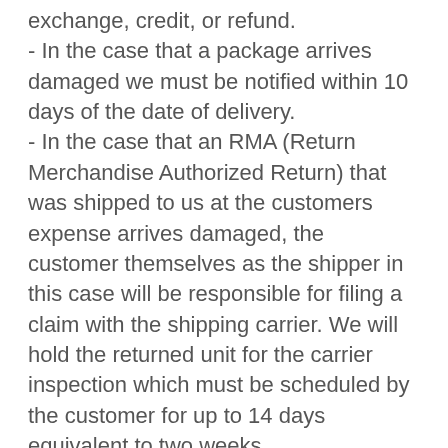exchange, credit, or refund.
- In the case that a package arrives damaged we must be notified within 10 days of the date of delivery.
- In the case that an RMA (Return Merchandise Authorized Return) that was shipped to us at the customers expense arrives damaged, the customer themselves as the shipper in this case will be responsible for filing a claim with the shipping carrier. We will hold the returned unit for the carrier inspection which must be scheduled by the customer for up to 14 days equivalent to two weeks.
All original packaging must be kept intact by the customer in order for a carrier claim and inspection to be initiated by us once we are notified of the damage to your shipment. Please make sure to retain the original shipping box which contains the carrier's shipping label and original tracking number.
- Once a damage pick up is scheduled by us most